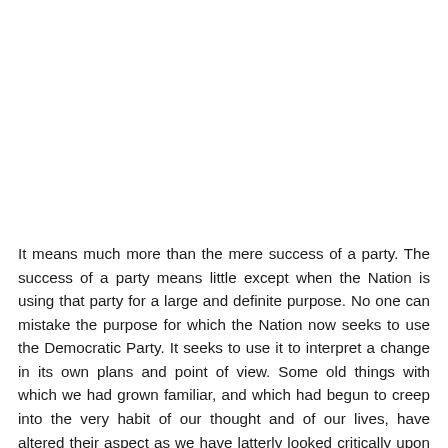It means much more than the mere success of a party. The success of a party means little except when the Nation is using that party for a large and definite purpose. No one can mistake the purpose for which the Nation now seeks to use the Democratic Party. It seeks to use it to interpret a change in its own plans and point of view. Some old things with which we had grown familiar, and which had begun to creep into the very habit of our thought and of our lives, have altered their aspect as we have latterly looked critically upon them, with fresh, awakened eyes; have dropped their disguises and shown themselves alien and sinister. Some new things, as we look frankly upon them, willing to